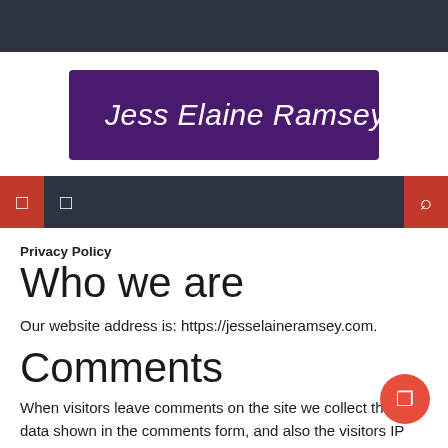[Figure (logo): Jess Elaine Ramsey logo with microphone icon on dark purple background]
Privacy Policy
Who we are
Our website address is: https://jesselaineramsey.com.
Comments
When visitors leave comments on the site we collect the data shown in the comments form, and also the visitors IP address and browser...